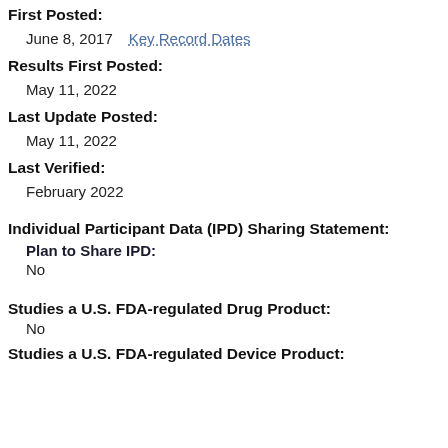First Posted:
June 8, 2017   Key Record Dates
Results First Posted:
May 11, 2022
Last Update Posted:
May 11, 2022
Last Verified:
February 2022
Individual Participant Data (IPD) Sharing Statement:
Plan to Share IPD:
No
Studies a U.S. FDA-regulated Drug Product:
No
Studies a U.S. FDA-regulated Device Product: